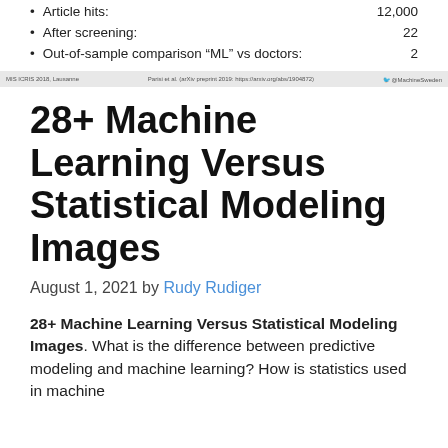Article hits: 12,000
After screening: 22
Out-of-sample comparison “ML” vs doctors: 2
MIS ICRIS 2018, Lausanne   Parisi et al. (arXiv preprint 2019: https://arxiv.org/abs/1904872)   @MachineSweden
28+ Machine Learning Versus Statistical Modeling Images
August 1, 2021 by Rudy Rudiger
28+ Machine Learning Versus Statistical Modeling Images. What is the difference between predictive modeling and machine learning? How is statistics used in machine